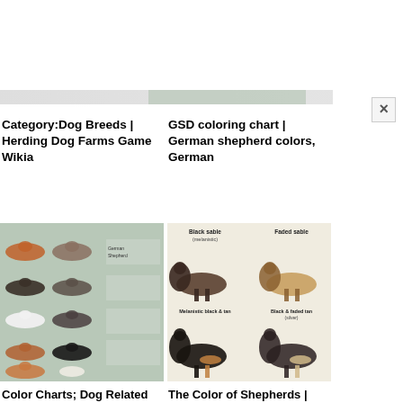[Figure (screenshot): Top strip showing partial browser UI with dashed/dotted line pattern and colored bar segments]
Category:Dog Breeds | Herding Dog Farms Game Wikia
GSD coloring chart | German shepherd colors, German
[Figure (illustration): Color chart showing many German Shepherd color variants in rows on a grey-green background with text labels]
[Figure (illustration): GSD coloring chart showing four German Shepherd dogs: Black sable (melanistic), Faded sable, Melanistic black & tan, Black & faded tan (silver)]
Color Charts; Dog Related | German shepherd colors, German
The Color of Shepherds | German shepherd pictures, German